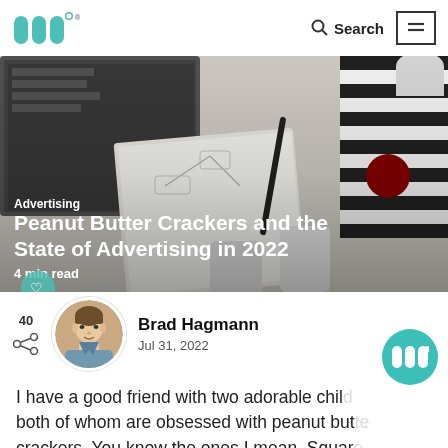Metaforce logo, Search, Menu
[Figure (photo): Photo of a desk with laptop, notebook, pen, phone, and striped book. Text overlay shows category 'Advertising', title 'Peanut Butter Crackers and the State of Advertising in 2022', '4 min read', and a heart/like button.]
Peanut Butter Crackers and the State of Advertising in 2022
Advertising
4 min read
40
Brad Hagmann
Jul 31, 2022
I have a good friend with two adorable child both of whom are obsessed with peanut butte crackers. You know the ones I mean. Square